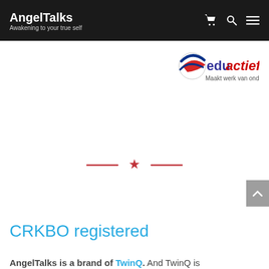AngelTalks — Awakening to your true self
[Figure (logo): edu actief logo with tagline 'Maakt werk van onderwijs']
[Figure (illustration): Decorative divider: two horizontal dashes with a red star in the center]
CRKBO registered
AngelTalks is a brand of TwinQ. And TwinQ is certified in accordance with the quality code